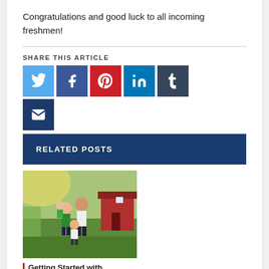Congratulations and good luck to all incoming freshmen!
[Figure (infographic): Social media share buttons: Twitter (light blue), Facebook (dark blue), Pinterest (red), LinkedIn (blue), Tumblr (dark grey), Email (dark navy)]
RELATED POSTS
[Figure (photo): A family (man, woman, children) outdoors in a garden/backyard setting with sunlight]
Getting Started with